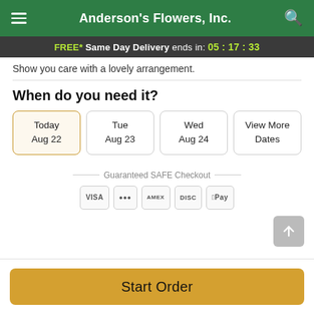Anderson's Flowers, Inc.
FREE* Same Day Delivery ends in: 05 : 17 : 33
Show you care with a lovely arrangement.
When do you need it?
Today Aug 22
Tue Aug 23
Wed Aug 24
View More Dates
Guaranteed SAFE Checkout
VISA  Mastercard  American Express  Discover  Apple Pay
Start Order